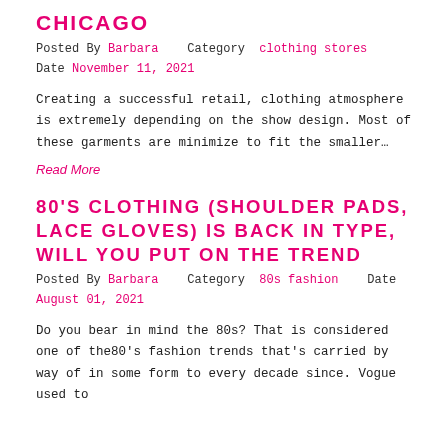CHICAGO
Posted By Barbara   Category  clothing stores   Date November 11, 2021
Creating a successful retail, clothing atmosphere is extremely depending on the show design. Most of these garments are minimize to fit the smaller…
Read More
80'S CLOTHING (SHOULDER PADS, LACE GLOVES) IS BACK IN TYPE, WILL YOU PUT ON THE TREND
Posted By Barbara   Category  80s fashion   Date August 01, 2021
Do you bear in mind the 80s? That is considered one of the80's fashion trends that's carried by way of in some form to every decade since. Vogue used to